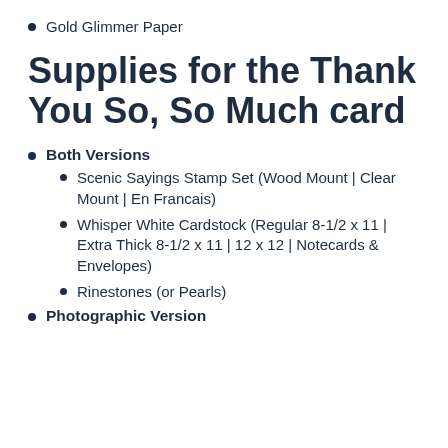Gold Glimmer Paper
Supplies for the Thank You So, So Much card
Both Versions
Scenic Sayings Stamp Set (Wood Mount | Clear Mount | En Francais)
Whisper White Cardstock (Regular 8-1/2 x 11 | Extra Thick 8-1/2 x 11 | 12 x 12 | Notecards & Envelopes)
Rinestones (or Pearls)
Photographic Version